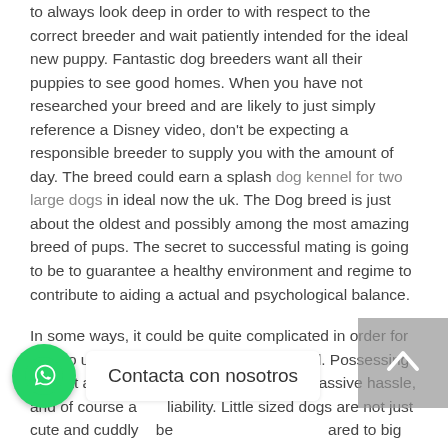to always look deep in order to with respect to the correct breeder and wait patiently intended for the ideal new puppy. Fantastic dog breeders want all their puppies to see good homes. When you have not researched your breed and are likely to just simply reference a Disney video, don't be expecting a responsible breeder to supply you with the amount of day. The breed could earn a splash dog kennel for two large dogs in ideal now the uk. The Dog breed is just about the oldest and possibly among the most amazing breed of pups. The secret to successful mating is going to be to guarantee a healthy environment and regime to contribute to aiding a actual and psychological balance.
In some ways, it could be quite complicated in order for it to go unnoticed the puppy has combined. Possessing a great aggressive dog can be an really massive hassle, and of course a liability. Little sized dogs are not just cute and cuddly but be compared to big dogs.
If you wantto continue to keep your doggie indoors, afterward